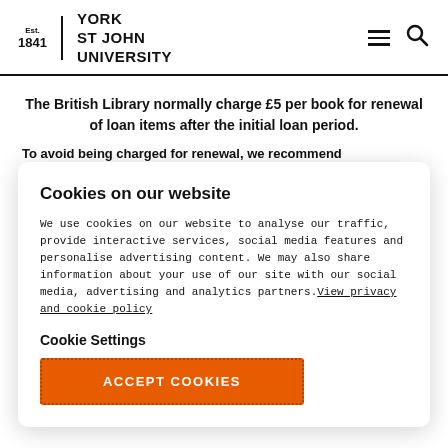Est. 1841 | YORK ST JOHN UNIVERSITY
The British Library normally charge £5 per book for renewal of loan items after the initial loan period.
To avoid being charged for renewal, we recommend
Cookies on our website
We use cookies on our website to analyse our traffic, provide interactive services, social media features and personalise advertising content. We may also share information about your use of our site with our social media, advertising and analytics partners. View privacy and cookie policy
Cookie Settings
ACCEPT COOKIES